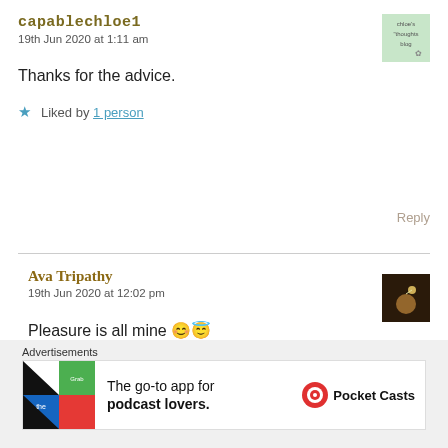capablechloe1
19th Jun 2020 at 1:11 am
Thanks for the advice.
★ Liked by 1 person
Reply
Ava Tripathy
19th Jun 2020 at 12:02 pm
Pleasure is all mine 😊😇
Advertisements
The go-to app for podcast lovers. Pocket Casts